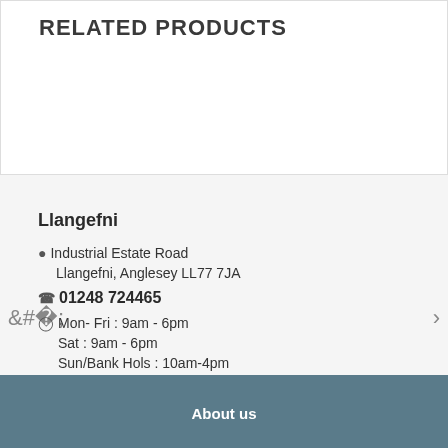RELATED PRODUCTS
Llangefni
Industrial Estate Road
Llangefni, Anglesey LL77 7JA
01248 724465
Mon- Fri : 9am - 6pm
Sat : 9am - 6pm
Sun/Bank Hols : 10am-4pm
About us